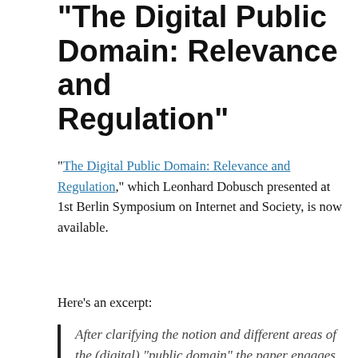"The Digital Public Domain: Relevance and Regulation"
"The Digital Public Domain: Relevance and Regulation," which Leonhard Dobusch presented at 1st Berlin Symposium on Internet and Society, is now available.
Here's an excerpt:
After clarifying the notion and different areas of the (digital) "public domain" the paper engages in discussing literature on its relevance for society in general and economic